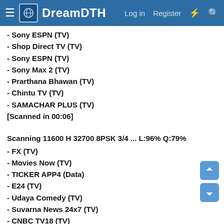DreamDTH — Log in  Register
- Sony ESPN (TV)
- Shop Direct TV (TV)
- Sony ESPN (TV)
- Sony Max 2 (TV)
- Prarthana Bhawan (TV)
- Chintu TV (TV)
- SAMACHAR PLUS (TV)
[Scanned in 00:06]
Scanning 11600 H 32700 8PSK 3/4 ... L:96% Q:79%
- FX (TV)
- Movies Now (TV)
- TICKER APP4 (Data)
- E24 (TV)
- Udaya Comedy (TV)
- Suvarna News 24x7 (TV)
- CNBC TV18 (TV)
- Gemini TV (TV)
- Udaya TV (TV)
- Star Movies Action (TV)